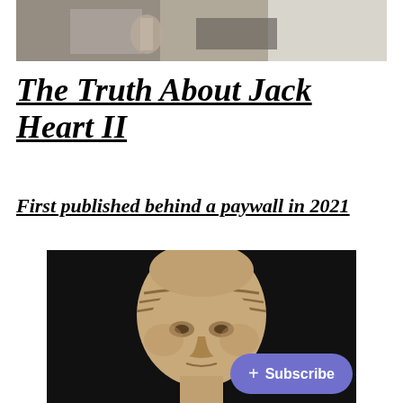[Figure (photo): Partial photo at top showing hands holding a small figurine and a bag strap, person wearing white shirt]
The Truth About Jack Heart II
First published behind a paywall in 2021
[Figure (photo): Ancient stone carved head/bust with closed or half-closed eyes, dark background, resembling a Buddha or ancient deity sculpture]
+ Subscribe